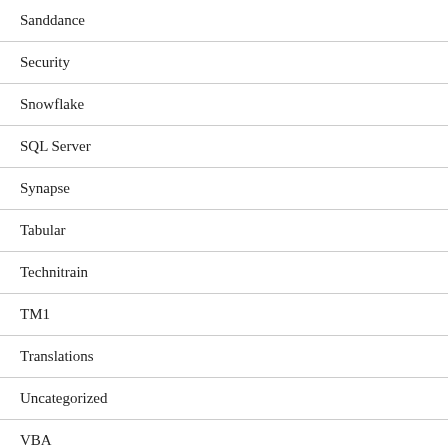Sanddance
Security
Snowflake
SQL Server
Synapse
Tabular
Technitrain
TM1
Translations
Uncategorized
VBA
Video Training
Visio
Visualisation